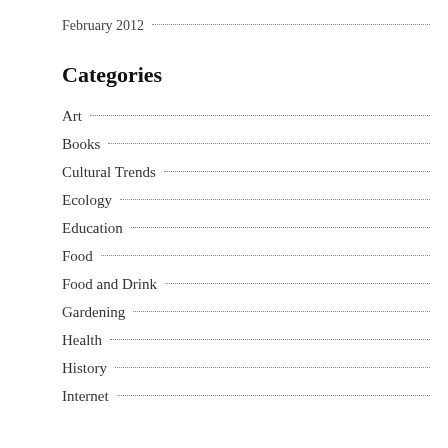February 2012
Categories
Art
Books
Cultural Trends
Ecology
Education
Food
Food and Drink
Gardening
Health
History
Internet